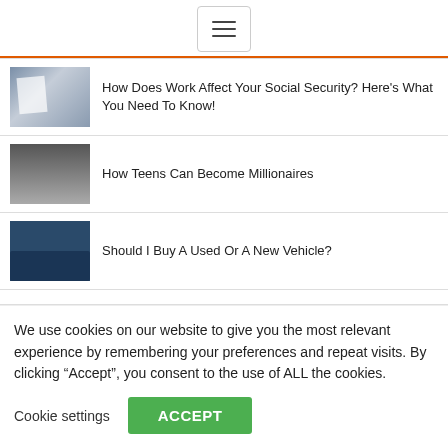[Figure (other): Hamburger menu button icon with three horizontal lines]
How Does Work Affect Your Social Security? Here's What You Need To Know!
How Teens Can Become Millionaires
Should I Buy A Used Or A New Vehicle?
We use cookies on our website to give you the most relevant experience by remembering your preferences and repeat visits. By clicking “Accept”, you consent to the use of ALL the cookies.
Cookie settings   ACCEPT